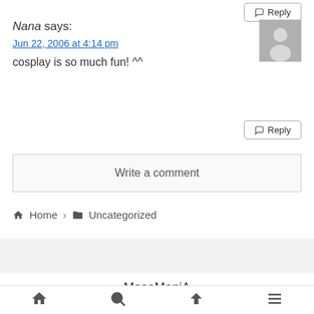Reply (top button)
Nana says:
Jun 22, 2006 at 4:14 pm
cosplay is so much fun! ^^
[Figure (illustration): Gray placeholder avatar silhouette]
Reply (bottom button)
Write a comment
Home > Uncategorized
MasaManiA
© 2004 MasaManiA.
Bottom navigation bar with home, search, up, and menu icons